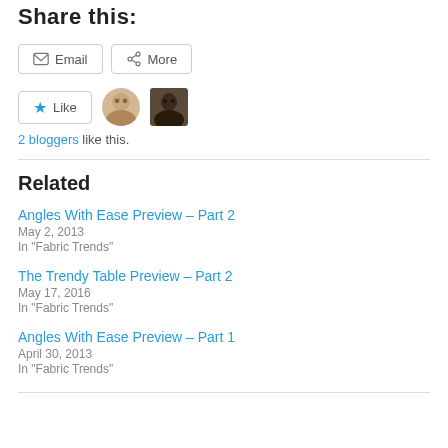Share this:
Email  More
[Figure (screenshot): Like button with star icon, and two blogger avatar thumbnails]
2 bloggers like this.
Related
Angles With Ease Preview – Part 2
May 2, 2013
In "Fabric Trends"
The Trendy Table Preview – Part 2
May 17, 2016
In "Fabric Trends"
Angles With Ease Preview – Part 1
April 30, 2013
In "Fabric Trends"